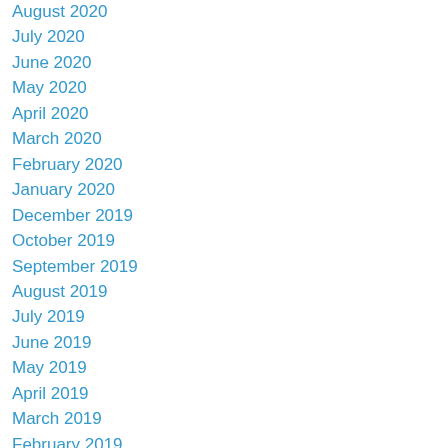August 2020
July 2020
June 2020
May 2020
April 2020
March 2020
February 2020
January 2020
December 2019
October 2019
September 2019
August 2019
July 2019
June 2019
May 2019
April 2019
March 2019
February 2019
January 2019
December 2018
November 2018